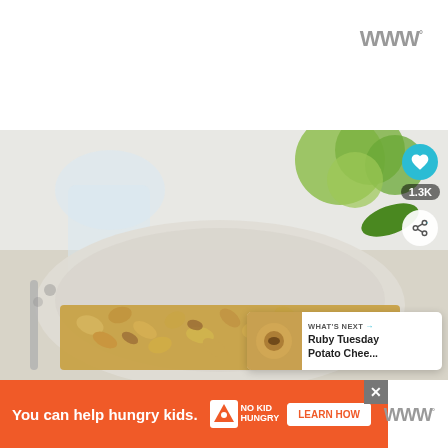[Figure (photo): Close-up of a plate of baked macaroni and cheese with a glass of water and green flowers/hydrangeas in the background on a white table setting]
1.3K
[Figure (screenshot): WHAT'S NEXT card showing Ruby Tuesday Potato Chee... with a thumbnail]
[Figure (screenshot): Advertisement banner: You can help hungry kids. No Kid Hungry. LEARN HOW with close button]